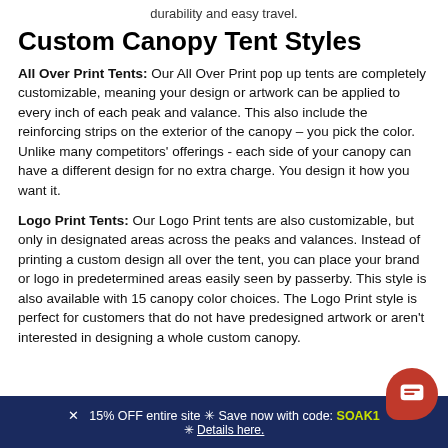durability and easy travel.
Custom Canopy Tent Styles
All Over Print Tents: Our All Over Print pop up tents are completely customizable, meaning your design or artwork can be applied to every inch of each peak and valance. This also include the reinforcing strips on the exterior of the canopy – you pick the color. Unlike many competitors' offerings - each side of your canopy can have a different design for no extra charge. You design it how you want it.
Logo Print Tents: Our Logo Print tents are also customizable, but only in designated areas across the peaks and valances. Instead of printing a custom design all over the tent, you can place your brand or logo in predetermined areas easily seen by passerby. This style is also available with 15 canopy color choices. The Logo Print style is perfect for customers that do not have predesigned artwork or aren't interested in designing a whole custom canopy.
✕  15% OFF entire site ✳ Save now with code: SOAK1... ✳ Details here.